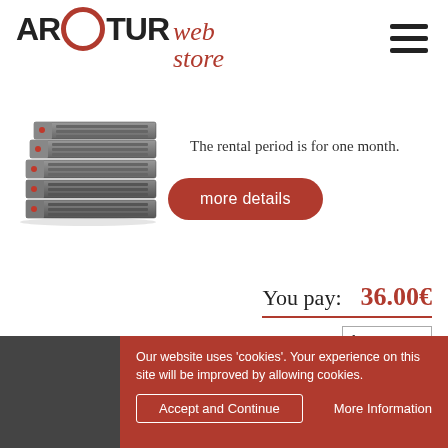[Figure (logo): Arctur web store logo with circular O and red italic 'web store' text]
[Figure (photo): Stack of rack-mounted server units, gray metallic finish]
The rental period is for one month.
more details
You pay:  36.00€
qty: 1
add to cart
Our website uses 'cookies'. Your experience on this site will be improved by allowing cookies.
Accept and Continue
More Information